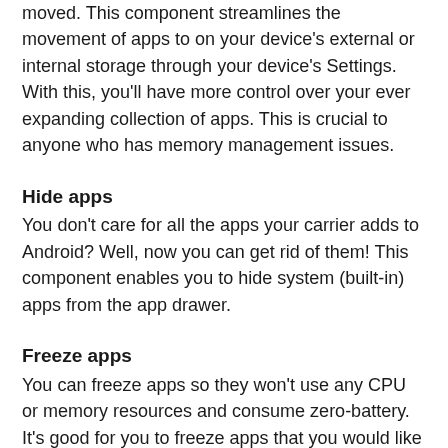moved. This component streamlines the movement of apps to on your device's external or internal storage through your device's Settings. With this, you'll have more control over your ever expanding collection of apps. This is crucial to anyone who has memory management issues.
Hide apps
You don't care for all the apps your carrier adds to Android? Well, now you can get rid of them! This component enables you to hide system (built-in) apps from the app drawer.
Freeze apps
You can freeze apps so they won't use any CPU or memory resources and consume zero-battery. It's good for you to freeze apps that you would like to keep in device, but don't want them to run or be uninstalled.
We have been selected as a Google I/O 2011 Developer